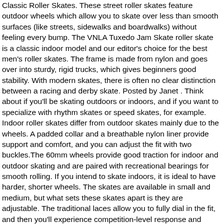Classic Roller Skates. These street roller skates feature outdoor wheels which allow you to skate over less than smooth surfaces (like streets, sidewalks and boardwalks) without feeling every bump. The VNLA Tuxedo Jam Skate roller skate is a classic indoor model and our editor's choice for the best men's roller skates. The frame is made from nylon and goes over into sturdy, rigid trucks, which gives beginners good stability. With modern skates, there is often no clear distinction between a racing and derby skate. Posted by Janet . Think about if you'll be skating outdoors or indoors, and if you want to specialize with rhythm skates or speed skates, for example. Indoor roller skates differ from outdoor skates mainly due to the wheels. A padded collar and a breathable nylon liner provide support and comfort, and you can adjust the fit with two buckles.The 60mm wheels provide good traction for indoor and outdoor skating and are paired with recreational bearings for smooth rolling. If you intend to skate indoors, it is ideal to have harder, shorter wheels. The skates are available in small and medium, but what sets these skates apart is they are adjustable. The traditional laces allow you to fully dial in the fit, and then you'll experience competition-level response and control over these skates to let your skills shine./, Expand To See MoreSee LessThe plate is made from nylon and aluminum for a maximum of stability and durability.Four Varsity wheels of 58mm diameter and 32mm width with a hardness of 101A allow you to execute fine movements and sharp turns during your artistic or dance